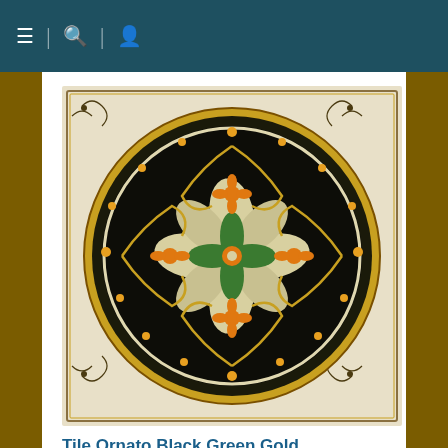Navigation bar with menu, search, and user icons
[Figure (photo): Deruta Italian hand-painted decorative tile with Ornato Black/Green/Gold design — a circular medallion with floral and scroll motifs in black, green, gold, and cream on a square tile with ornamental corner details.]
Tile Ornato Black Green Gold
Deruta Italian Hand Painted Tile - Ornato Black/Green/Gold Style - 8 inch x 8 inch (20 cm x 20 cm)
Quantity  Out of stock